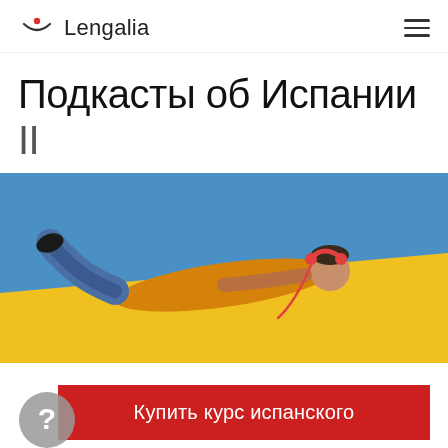Lengalia
Подкасты об Испании II
[Figure (photo): Person lying on a yellow surface against a blue background, wearing a yellow sweater and headphones, listening to music.]
Купить курс испанского
Онлайн-курс: язык и культура